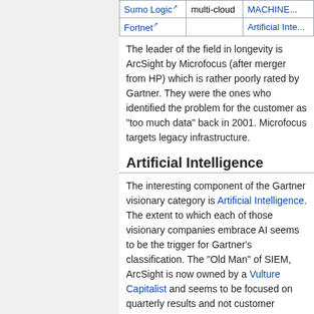|  |  |  |
| --- | --- | --- |
| Sumo Logic [ext] | multi-cloud | MACHINE... |
| Fortnet [ext] |  | Artificial Inte... |
The leader of the field in longevity is ArcSight by Microfocus (after merger from HP) which is rather poorly rated by Gartner. They were the ones who identified the problem for the customer as "too much data" back in 2001. Microfocus targets legacy infrastructure.
Artificial Intelligence
The interesting component of the Gartner visionary category is Artificial Intelligence. The extent to which each of those visionary companies embrace AI seems to be the trigger for Gartner's classification. The "Old Man" of SIEM, ArcSight is now owned by a Vulture Capitalist and seems to be focused on quarterly results and not customer...